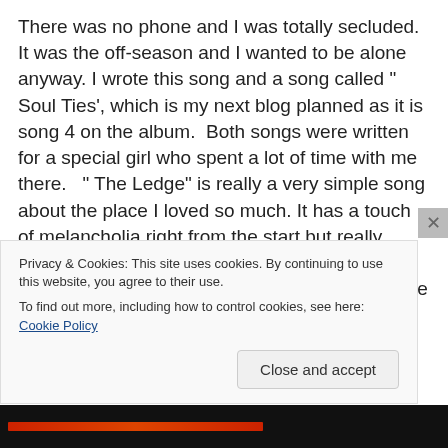There was no phone and I was totally secluded. It was the off-season and I wanted to be alone anyway. I wrote this song and a song called " Soul Ties', which is my next blog planned as it is song 4 on the album.  Both songs were written for a special girl who spent a lot of time with me there.   " The Ledge" is really a very simple song about the place I loved so much. It has a touch of melancholia right from the start but really sounds kind of  pensive to me. When I play it I can go right back and be sitting there with nature my only companion. The girl lingers there in spirit as well. I wrote a series of poems called " The Girl in
Privacy & Cookies: This site uses cookies. By continuing to use this website, you agree to their use.
To find out more, including how to control cookies, see here: Cookie Policy
Close and accept